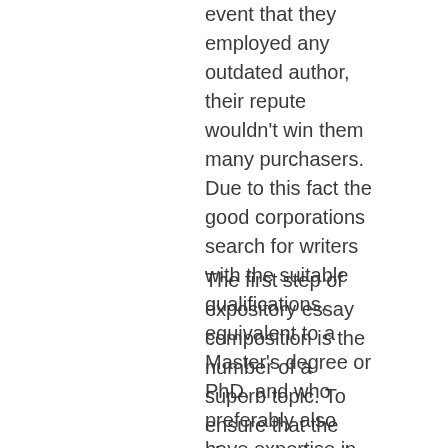event that they employed any outdated author, their repute wouldn't win them many purchasers. Due to this fact the good corporations search for writers with the suitable qualifications, equivalent to a Master's degree or PhD, and who preferably also have expertise in writing papers for different essay companies.
The first step of expository essay composition is the number of a superb topic. To ensure that the chosen topic to be narrow enough and fit in, sufficient research in type of libraries, web and tutorial databases search is required. With a correct understanding of the chosen matter the writer shall be able to convey the intended message and avoid verbosity in the process. As soon as the appropriate subject has been selected, the second step is the